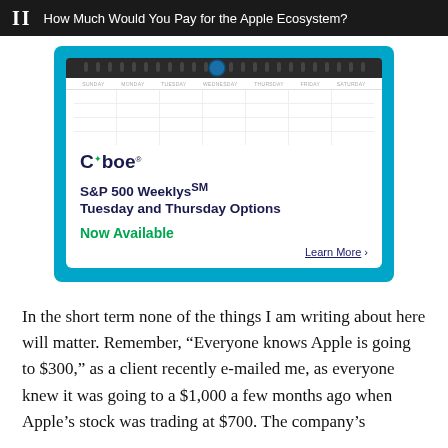II  How Much Would You Pay for the Apple Ecosystem?
[Figure (illustration): Cboe advertisement for S&P 500 Weeklys Tuesday and Thursday Options. Shows a calendar-style card on a cyan/blue background. The card has a spiral binding at top, calendar grid, Cboe logo, bold text reading 'S&P 500 Weeklys℠ Tuesday and Thursday Options', green text 'Now Available', and underlined link 'Learn More >']
In the short term none of the things I am writing about here will matter. Remember, “Everyone knows Apple is going to $300,” as a client recently e-mailed me, as everyone knew it was going to a $1,000 a few months ago when Apple’s stock was trading at $700. The company’s